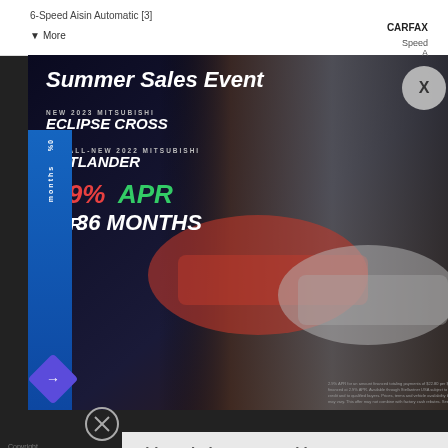6-Speed Aisin Automatic [3]
▼ More
CARFAX
Speed A
[Figure (photo): Mitsubishi Summer Sales Event advertisement banner showing Eclipse Cross and Outlander vehicles with 2.9% APR for 36 months offer]
Summer Sales Event
NEW 2023 MITSUBISHI
ECLIPSE CROSS
THE ALL-NEW 2022 MITSUBISHI
OUTLANDER
2.9% APR FOR 36 MONTHS
This website uses cookies.
We use cookies to improve your experience, allow our website to function. See our Privacy Policy, Terms & Arbitration for details on Cookies and other terms required to use this site.
SELECT VEHICLE
CONFIRM INFO
Tell us about the vehicle you want to test drive.
New
Year
Accept Cookies & Policies
More Information
Privacy Policy
Copyright
PRIVACY POLICY